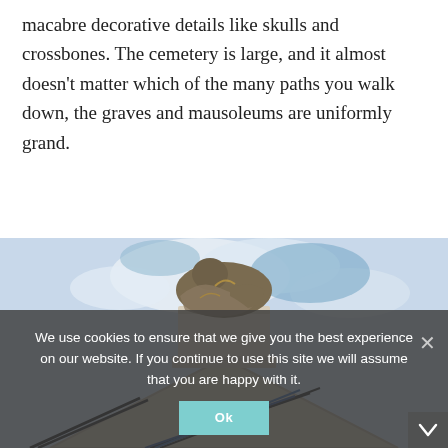macabre decorative details like skulls and crossbones. The cemetery is large, and it almost doesn't matter which of the many paths you walk down, the graves and mausoleums are uniformly grand.
[Figure (photo): A bronze or stone statue of a crouching/grieving figure atop a light-colored stone pedestal, set against a partly cloudy blue sky. Below, the peaked stone roofline of a mausoleum is visible with cables/wires crossing in front.]
We use cookies to ensure that we give you the best experience on our website. If you continue to use this site we will assume that you are happy with it.